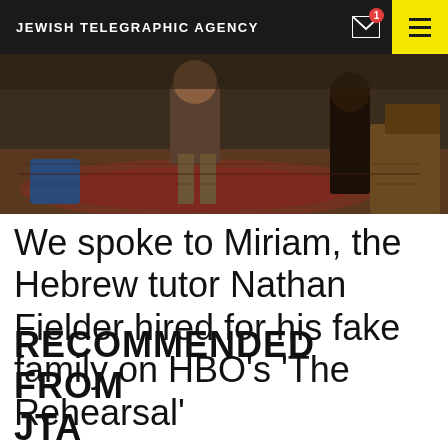JEWISH TELEGRAPHIC AGENCY
[Figure (photo): Indoor scene showing a person standing in a room with a decorative rug and furniture visible]
We spoke to Miriam, the Hebrew tutor Nathan Fielder hired for his fake family on HBO’s ‘The Rehearsal’
RECOMMENDED FROM JTA